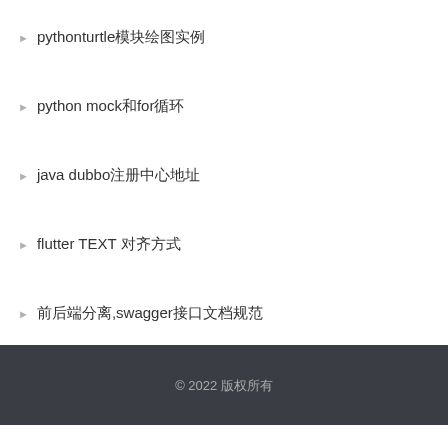python turtle​模块绘图实例
python mock和for循环
java dubbo注册中心地址
flutter TEXT 对齐方式
前后端分离,swagger接口文档规范
© 2022 版权所有